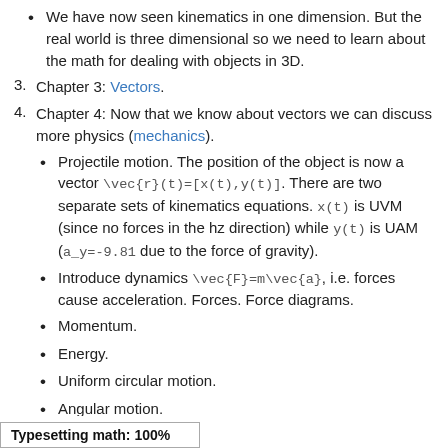We have now seen kinematics in one dimension. But the real world is three dimensional so we need to learn about the math for dealing with objects in 3D.
Chapter 3: Vectors.
Chapter 4: Now that we know about vectors we can discuss more physics (mechanics).
Projectile motion. The position of the object is now a vector \vec{r}(t)=[x(t),y(t)]. There are two separate sets of kinematics equations. x(t) is UVM (since no forces in the hz direction) while y(t) is UAM (a_y=-9.81 due to the force of gravity).
Introduce dynamics \vec{F}=m\vec{a}, i.e. forces cause acceleration. Forces. Force diagrams.
Momentum.
Energy.
Uniform circular motion.
Angular motion.
Typesetting math: 100%